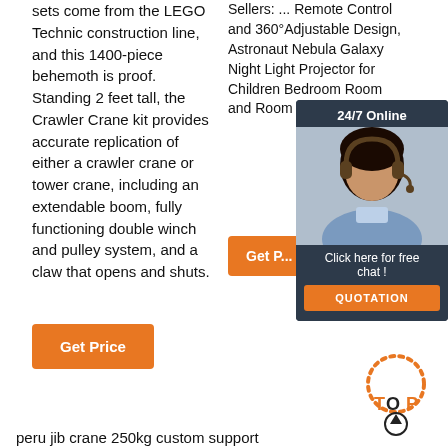sets come from the LEGO Technic construction line, and this 1400-piece behemoth is proof. Standing 2 feet tall, the Crawler Crane kit provides accurate replication of either a crawler crane or tower crane, including an extendable boom, fully functioning double winch and pulley system, and a claw that opens and shuts.
Get Price
Sellers: ... Remote Control and 360°Adjustable Design, Astronaut Nebula Galaxy Night Light Projector for Children Bedroom Room and Room 4 stars 86
[Figure (photo): Chat popup with a woman wearing a headset, labeled 24/7 Online, with Click here for free chat! and QUOTATION button]
Get Price
[Figure (other): TOP with arrow up icon in orange dotted arc style]
peru jib crane 250kg custom support